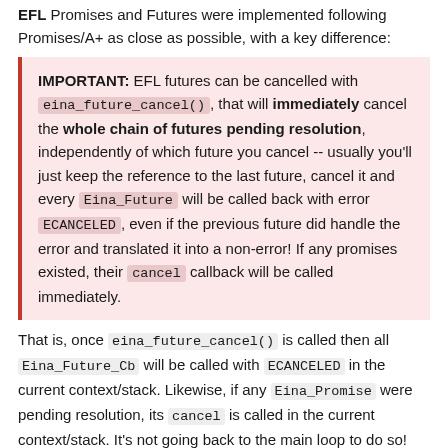EFL Promises and Futures were implemented following Promises/A+ as close as possible, with a key difference:
IMPORTANT: EFL futures can be cancelled with eina_future_cancel(), that will immediately cancel the whole chain of futures pending resolution, independently of which future you cancel -- usually you'll just keep the reference to the last future, cancel it and every Eina_Future will be called back with error ECANCELED, even if the previous future did handle the error and translated it into a non-error! If any promises existed, their cancel callback will be called immediately.
That is, once eina_future_cancel() is called then all Eina_Future_Cb will be called with ECANCELED in the current context/stack. Likewise, if any Eina_Promise were pending resolution, its cancel is called in the current context/stack. It's not going back to the main loop to do so!